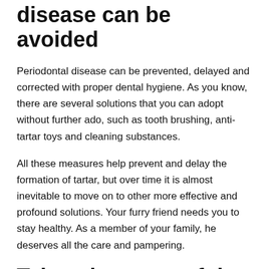Your pet's periodontal disease can be avoided
Periodontal disease can be prevented, delayed and corrected with proper dental hygiene. As you know, there are several solutions that you can adopt without further ado, such as tooth brushing, anti-tartar toys and cleaning substances.
All these measures help prevent and delay the formation of tartar, but over time it is almost inevitable to move on to other more effective and profound solutions. Your furry friend needs you to stay healthy. As a member of your family, he deserves all the care and pampering.
Take advantage of the oral hygiene services for dogs and cats at the Agriculture for Oral Health...